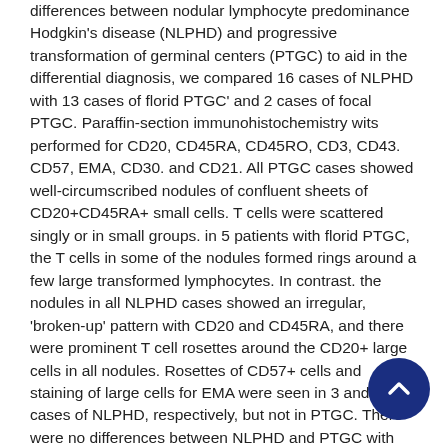differences between nodular lymphocyte predominance Hodgkin's disease (NLPHD) and progressive transformation of germinal centers (PTGC) to aid in the differential diagnosis, we compared 16 cases of NLPHD with 13 cases of florid PTGC' and 2 cases of focal PTGC. Paraffin-section immunohistochemistry wits performed for CD20, CD45RA, CD45RO, CD3, CD43. CD57, EMA, CD30. and CD21. All PTGC cases showed well-circumscribed nodules of confluent sheets of CD20+CD45RA+ small cells. T cells were scattered singly or in small groups. in 5 patients with florid PTGC, the T cells in some of the nodules formed rings around a few large transformed lymphocytes. In contrast. the nodules in all NLPHD cases showed an irregular, 'broken-up' pattern with CD20 and CD45RA, and there were prominent T cell rosettes around the CD20+ large cells in all nodules. Rosettes of CD57+ cells and staining of large cells for EMA were seen in 3 and 2 cases of NLPHD, respectively, but not in PTGC. There were no differences between NLPHD and PTGC with respect to staining for CD30 or CD21. Three of the eight patients with florid PTGC and a few T cell rosettes had had persistent or recurrent lymphadenopathy: NLPHD developed in 1 of these patients 13 years later. We conclude that a combination of pan-B and pan-T antigens can be a useful adjunct to morphology in distinguishing NLPHD from PTGC. In